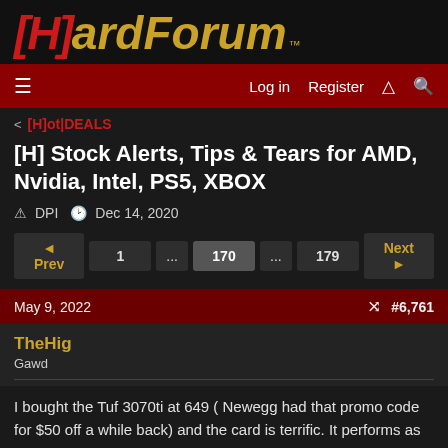[H]ardForum™
Log in  Register
< [H]ot|DEALS
[H] Stock Alerts, Tips & Tears for AMD, Nvidia, Intel, PS5, XBOX
DPI · Dec 14, 2020
◄ Prev  1  ...  170  ...  179  Next ►
May 9, 2022  #6,761
TheHig
Gawd
I bought the Tuf 3070ti at 649 ( Newegg had that promo code for $50 off a while back) and the card is terrific. It performs as